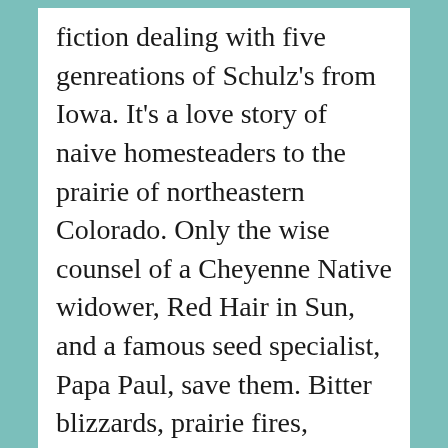fiction dealing with five genreations of Schulz's from Iowa. It's a love story of naive homesteaders to the prairie of northeastern Colorado. Only the wise counsel of a Cheyenne Native widower, Red Hair in Sun, and a famous seed specialist, Papa Paul, save them. Bitter blizzards, prairie fires, blistering summers challenge the best who live in dugouts with snakes, bugs, and darkness. Grasshoppers destroy their crops and even the wooden chairs in the kitchen. The